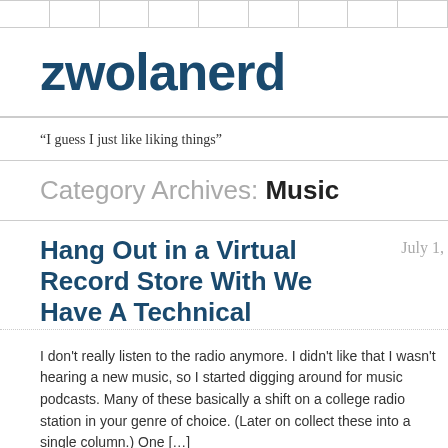zwolanerd
“I guess I just like liking things”
Category Archives: Music
Hang Out in a Virtual Record Store With We Have A Technical
I don’t really listen to the radio anymore. I didn’t like that I wasn’t hearing a new music, so I started digging around for music podcasts. Many of these basically a shift on a college radio station in your genre of choice. (Later on collect these into a single column.) One […]
Share this